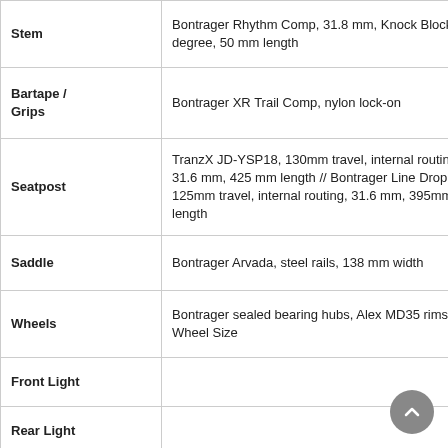| Component | Details |
| --- | --- |
| Stem | Bontrager Rhythm Comp, 31.8 mm, Knock Block, 0-degree, 50 mm length |
| Bartape / Grips | Bontrager XR Trail Comp, nylon lock-on |
| Seatpost | TranzX JD-YSP18, 130mm travel, internal routing, 31.6 mm, 425 mm length // Bontrager Line Dropper, 125mm travel, internal routing, 31.6 mm, 395mm length |
| Saddle | Bontrager Arvada, steel rails, 138 mm width |
| Wheels | Bontrager sealed bearing hubs, Alex MD35 rims, 29' Wheel Size |
| Front Light |  |
| Rear Light |  |
| Kickstand |  |
| Battery Capacity | 625 |
| Battery Brand | BOSCH |
| Battery Model | Bosch PowerTube 625 |
| Drivetrain | Bosch |